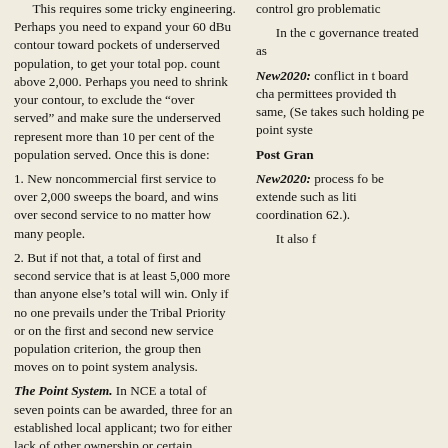This requires some tricky engineering. Perhaps you need to expand your 60 dBu contour toward pockets of underserved population, to get your total pop. count above 2,000. Perhaps you need to shrink your contour, to exclude the “over served” and make sure the underserved represent more than 10 per cent of the population served. Once this is done:
1. New noncommercial first service to over 2,000 sweeps the board, and wins over second service to no matter how many people.
2. But if not that, a total of first and second service that is at least 5,000 more than anyone else’s total will win. Only if no one prevails under the Tribal Priority or on the first and second new service population criterion, the group then moves on to point system analysis.
The Point System. In NCE a total of seven points can be awarded, three for an established local applicant; two for either lack of other ownership or certain
control gro problematic
In the c governance treated as
New2020: conflict in t board chan permittees provided th same, (Se takes such holding pe point syste
Post Gran
New2020: process fo be extende such as liti coordination 62.).
It also f